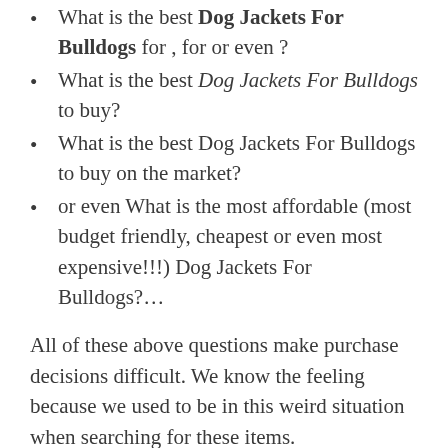What is the best Dog Jackets For Bulldogs for , for or even ?
What is the best Dog Jackets For Bulldogs to buy?
What is the best Dog Jackets For Bulldogs to buy on the market?
or even What is the most affordable (most budget friendly, cheapest or even most expensive!!!) Dog Jackets For Bulldogs?…
All of these above questions make purchase decisions difficult. We know the feeling because we used to be in this weird situation when searching for these items.
Before deciding to buy anything, make sure